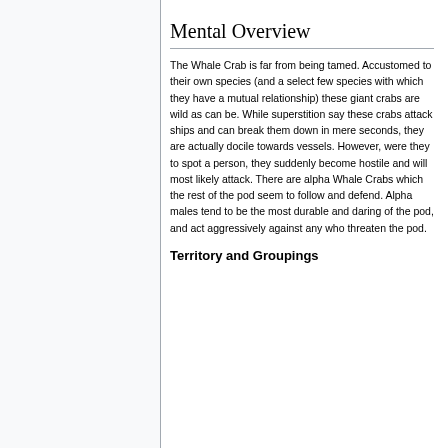Mental Overview
The Whale Crab is far from being tamed. Accustomed to their own species (and a select few species with which they have a mutual relationship) these giant crabs are wild as can be. While superstition say these crabs attack ships and can break them down in mere seconds, they are actually docile towards vessels. However, were they to spot a person, they suddenly become hostile and will most likely attack. There are alpha Whale Crabs which the rest of the pod seem to follow and defend. Alpha males tend to be the most durable and daring of the pod, and act aggressively against any who threaten the pod.
Territory and Groupings